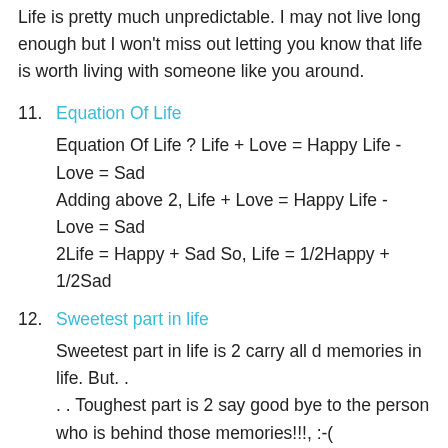Life is pretty much unpredictable. I may not live long enough but I won't miss out letting you know that life is worth living with someone like you around.
11. Equation Of Life
Equation Of Life ? Life + Love = Happy Life - Love = Sad Adding above 2, Life + Love = Happy Life - Love = Sad 2Life = Happy + Sad So, Life = 1/2Happy + 1/2Sad
12. Sweetest part in life
Sweetest part in life is 2 carry all d memories in life. But. . . . Toughest part is 2 say good bye to the person who is behind those memories!!!, :-(
13. Life is so stupid
Life is so stupid. An Ordinary person Makes u smile and A very special person Alwayz Makes us Cry. Still, We Care